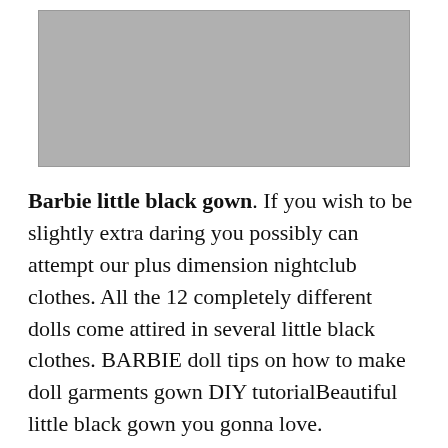[Figure (photo): Gray placeholder image at top of page]
Barbie little black gown. If you wish to be slightly extra daring you possibly can attempt our plus dimension nightclub clothes. All the 12 completely different dolls come attired in several little black clothes. BARBIE doll tips on how to make doll garments gown DIY tutorialBeautiful little black gown you gonna love.
The skirt is gathered on the waist which is cinched. She wears tall black boots plastic and has a layer of skinny clear plastic between the physique and the gown had been it's tight.